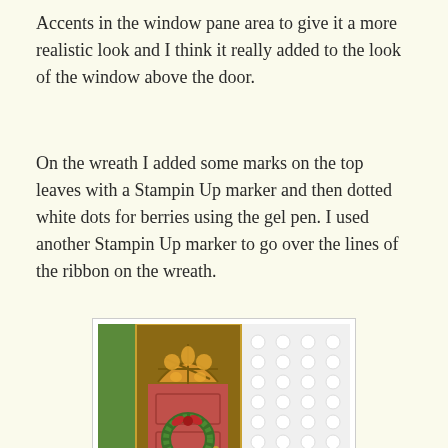Accents in the window pane area to give it a more realistic look and I think it really added to the look of the window above the door.
On the wreath I added some marks on the top leaves with a Stampin Up marker and then dotted white dots for berries using the gel pen. I used another Stampin Up marker to go over the lines of the ribbon on the wreath.
[Figure (photo): Close-up photo of a decorative Christmas door card with a reddish door, an arched window with amber/orange panes at the top, a green wreath with a red bow on the door, and white embossed dots texture on the surrounding wall.]